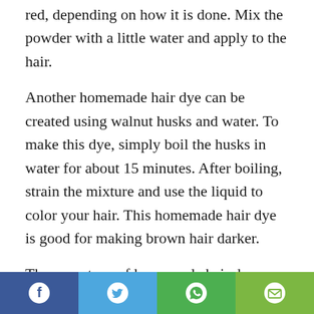red, depending on how it is done. Mix the powder with a little water and apply to the hair.
Another homemade hair dye can be created using walnut husks and water. To make this dye, simply boil the husks in water for about 15 minutes. After boiling, strain the mixture and use the liquid to color your hair. This homemade hair dye is good for making brown hair darker.
There are tons of homemade hair dye recipes to be found on the Internet. A simple search can yield thousands of interesting ideas. Keep in mind that some recipes are meant to enhance your natural hair color or cover grey
[Figure (infographic): Social sharing bar with four buttons: Facebook (dark blue), Twitter (light blue), WhatsApp (green), Email (light green)]